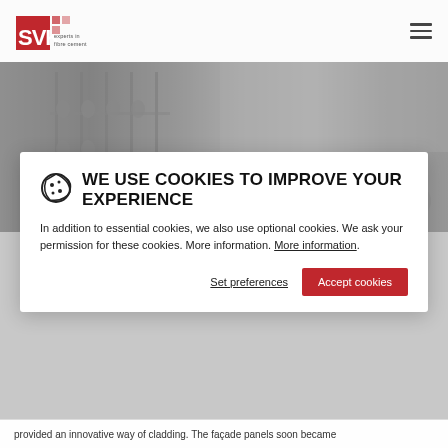SVK experts in fibre cement
[Figure (photo): Black and white historical photograph of a pottery/ceramics workshop with rows of clay vessels and barrels]
WE USE COOKIES TO IMPROVE YOUR EXPERIENCE
In addition to essential cookies, we also use optional cookies. We ask your permission for these cookies. More information. More information.
Set preferences | Accept cookies
provided an innovative way of cladding. The façade panels soon became